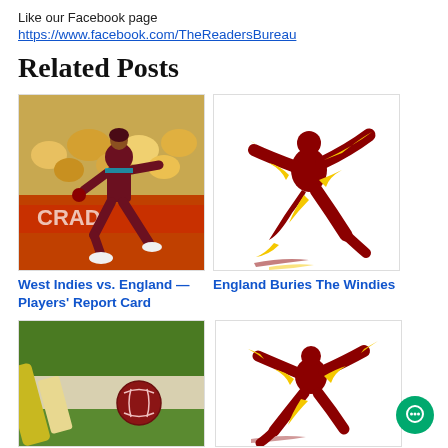Like our Facebook page
https://www.facebook.com/TheReadersBureau
Related Posts
[Figure (photo): West Indies cricket bowler in maroon uniform mid-delivery action shot with crowd in background]
[Figure (illustration): Stylized cricket player silhouette in red and yellow flame-like brush strokes on white background]
West Indies vs. England — Players' Report Card
England Buries The Windies
[Figure (photo): Close-up of cricket bat and red cricket ball on grass]
[Figure (illustration): Stylized cricket player silhouette in red and yellow flame-like brush strokes on white background (second instance)]